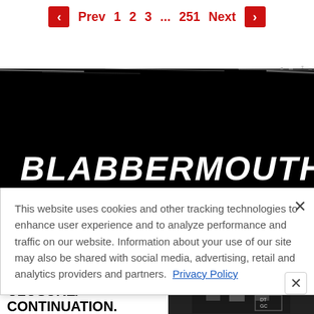Prev 1 2 3 ... 251 Next
[Figure (screenshot): Blabbermouth.net website header with black background and grunge texture, showing the BLABBERMOUTH.NET logo in white bold italic text]
This website uses cookies and other tracking technologies to enhance user experience and to analyze performance and traffic on our website. Information about your use of our site may also be shared with social media, advertising, retail and analytics providers and partners. Privacy Policy
[Figure (photo): Advertisement banner: Presented by Live Nation and Paladin Artists. PORCUPINE TREE CLOSURE/CONTINUATION. with a photo of band members on right side.]